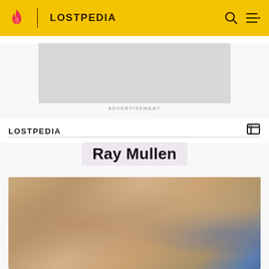LOSTPEDIA
ADVERTISEMENT
LOSTPEDIA
Ray Mullen
[Figure (photo): Close-up photograph of an elderly man with wrinkled skin and grey hair, with a blue background visible on the right side.]